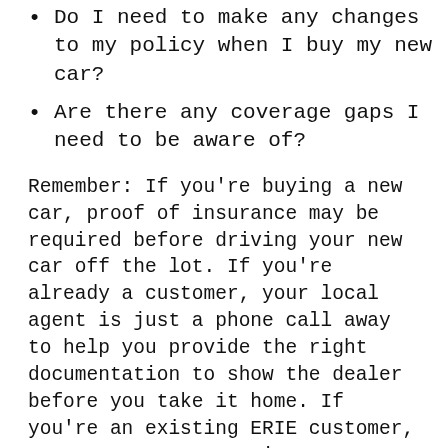Do I need to make any changes to my policy when I buy my new car?
Are there any coverage gaps I need to be aware of?
Remember: If you’re buying a new car, proof of insurance may be required before driving your new car off the lot. If you’re already a customer, your local agent is just a phone call away to help you provide the right documentation to show the dealer before you take it home. If you’re an existing ERIE customer, you can access your insurance ID card through your ERIE Online Account
Learn more in our related explainer: Is Your New Car Covered Under Your Auto Insurance